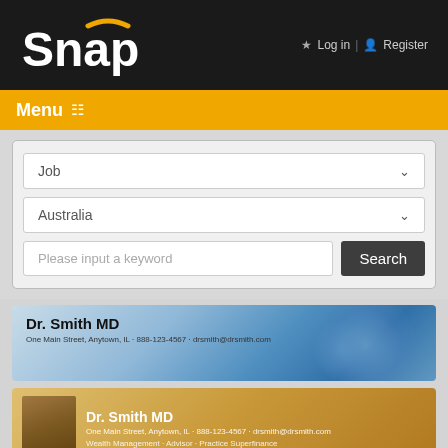[Figure (logo): Snap logo in white with gold arc above the 'a' on dark background]
Log in | Register
Menu
Job dropdown, Australia dropdown, Please input a keyword text field, Search button
[Figure (infographic): Dr. Smith MD profile card with blue gradient background, name and contact details]
[Figure (infographic): Dr. Smith MD profile card with gold/amber background, photo thumbnail, name, contact details and tags]